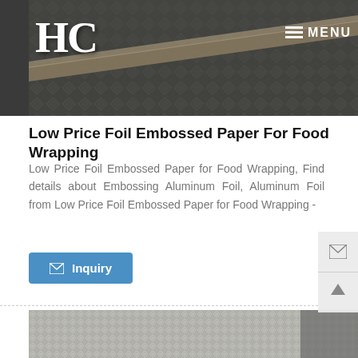HC  MENU
[Figure (photo): Close-up photo of embossed aluminum foil/metal sheet showing diamond pattern texture with a rod or bar diagonal across the surface]
Low Price Foil Embossed Paper For Food Wrapping
Low Price Foil Embossed Paper for Food Wrapping, Find details about Embossing Aluminum Foil, Aluminum Foil from Low Price Foil Embossed Paper for Food Wrapping -
[Figure (photo): Bottom photo of embossed aluminum foil showing fine diamond/checker texture pattern in gray tones]